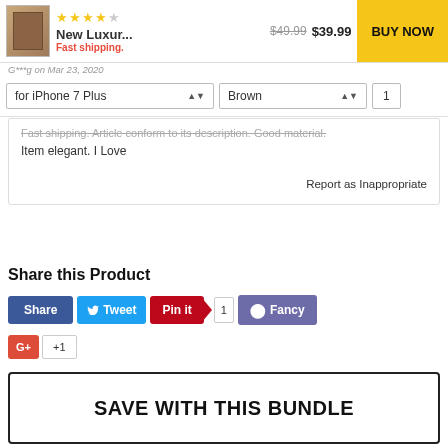[Figure (screenshot): Product listing top bar with thumbnail image, star rating, product name 'New Luxur...', price '$49.99 $39.99', and yellow BUY NOW button]
G***g on Mar 23, 2020
for iPhone 7 Plus
Brown
1
Fast shipping. Article conform to its description. Good material. Item elegant. I Love
Report as Inappropriate
Share this Product
[Figure (screenshot): Social share buttons: Share (Facebook blue), Tweet (Twitter blue), Pin it (Pinterest red with count 1), Fancy (purple), G+ +1 (Google Plus red)]
SAVE WITH THIS BUNDLE